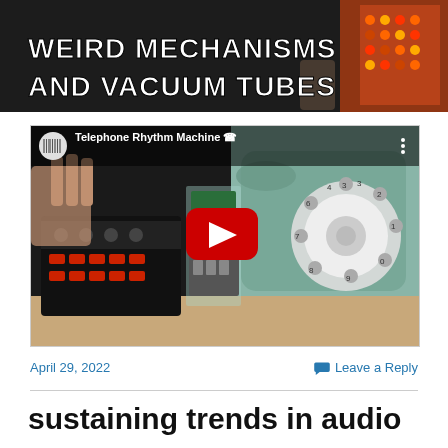[Figure (photo): Dark banner with bold white uppercase text 'WEIRD MECHANISMS AND VACUUM TUBES' with decorative element on right]
[Figure (screenshot): YouTube video thumbnail showing 'Telephone Rhythm Machine' with Electronics Fantastique channel logo, red play button, shows electronic sequencer device on left and vintage rotary telephone on right]
April 29, 2022
Leave a Reply
sustaining trends in audio